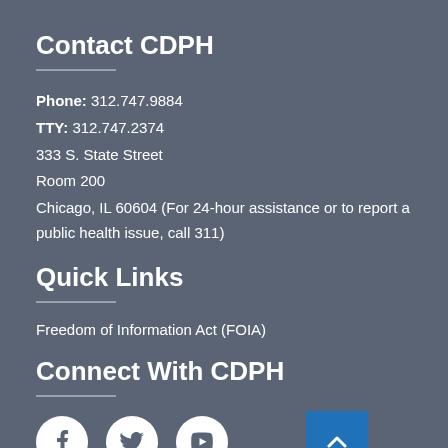Contact CDPH
Phone: 312.747.9884
TTY: 312.747.2374
333 S. State Street
Room 200
Chicago, IL 60604 (For 24-hour assistance or to report a public health issue, call 311)
Quick Links
Freedom of Information Act (FOIA)
Connect With CDPH
[Figure (infographic): Social media icons for Facebook, Twitter, YouTube and a blue scroll-to-top button with upward chevron]